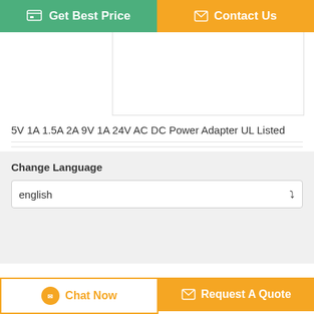[Figure (screenshot): Green 'Get Best Price' button and orange 'Contact Us' button at the top]
[Figure (other): Product image placeholder box (empty white box with border)]
5V 1A 1.5A 2A 9V 1A 24V AC DC Power Adapter UL Listed
Change Language
english
Home | About Us | Contact Us
Desktop View
Copyright © 2018 - 2020 acdcpower-adapter.com. All rights reserved.
[Figure (screenshot): Chat Now and Request A Quote buttons at the bottom]